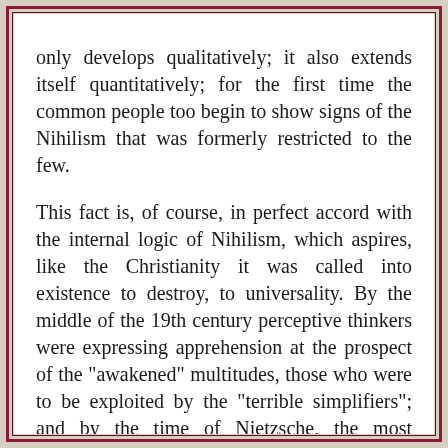only develops qualitatively; it also extends itself quantitatively; for the first time the common people too begin to show signs of the Nihilism that was formerly restricted to the few.
This fact is, of course, in perfect accord with the internal logic of Nihilism, which aspires, like the Christianity it was called into existence to destroy, to universality. By the middle of the 19th century perceptive thinkers were expressing apprehension at the prospect of the "awakened" multitudes, those who were to be exploited by the "terrible simplifiers"; and by the time of Nietzsche, the most powerful of Vitalist "prophets," the apprehension had deepened and become a certainty. Nietzsche could see that